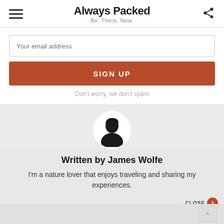Always Packed — Be. There. Now.
Your email address
SIGN UP
Don't worry, we don't spam
[Figure (illustration): Circular avatar silhouette of a person in profile]
Written by James Wolfe
I'm a nature lover that enjoys traveling and sharing my experiences.